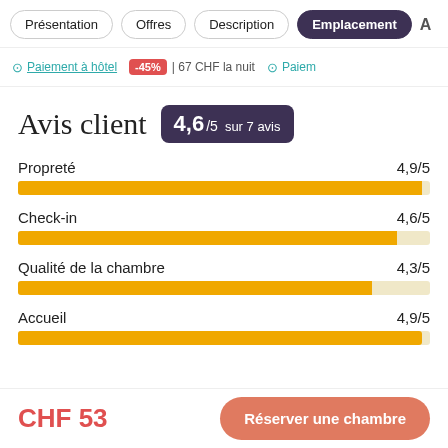Présentation | Offres | Description | Emplacement | A
Paiement à hôtel   -45%  | 67 CHF la nuit   Paiem
Avis client  4,6/5 sur 7 avis
[Figure (bar-chart): Avis client ratings]
CHF 53
Réserver une chambre